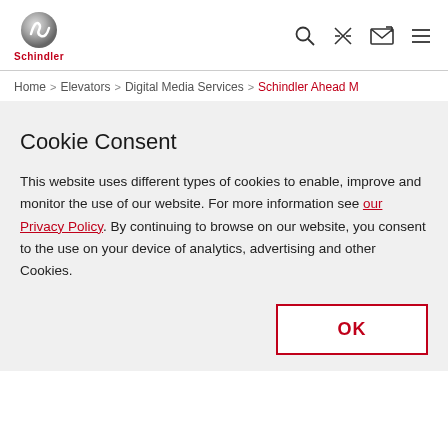[Figure (logo): Schindler logo — silver spiral globe icon above red Schindler wordmark]
[Figure (infographic): Navigation icons: search magnifying glass, tools/scissors cross, email/envelope, hamburger menu]
Home > Elevators > Digital Media Services > Schindler Ahead M
Cookie Consent
This website uses different types of cookies to enable, improve and monitor the use of our website. For more information see our Privacy Policy. By continuing to browse on our website, you consent to the use on your device of analytics, advertising and other Cookies.
OK